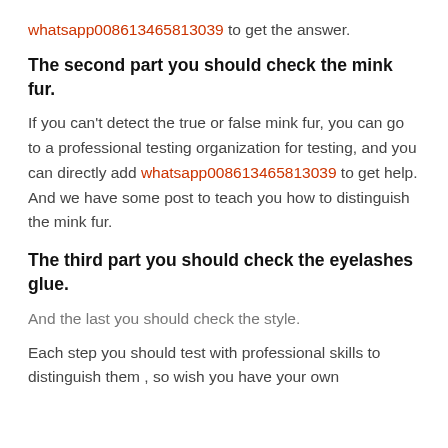whatsapp008613465813039 to get the answer.
The second part you should check the mink fur.
If you can't detect the true or false mink fur, you can go to a professional testing organization for testing, and you can directly add whatsapp008613465813039 to get help. And we have some post to teach you how to distinguish the mink fur.
The third part you should check the eyelashes glue.
And the last you should check the style.
Each step you should test with professional skills to distinguish them , so wish you have your own